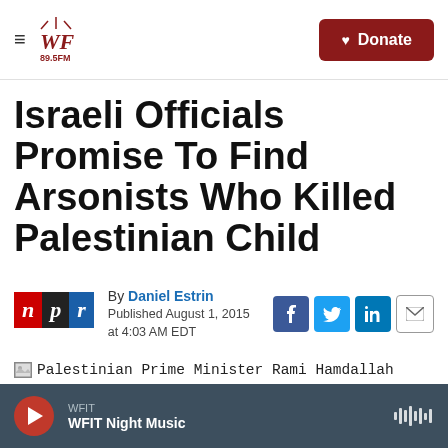WFIT 89.5FM — Donate
Israeli Officials Promise To Find Arsonists Who Killed Palestinian Child
By Daniel Estrin
Published August 1, 2015 at 4:03 AM EDT
[Figure (logo): NPR logo — three colored blocks with letters n, p, r]
[Figure (screenshot): Social sharing icons: Facebook, Twitter, LinkedIn, Email]
Palestinian Prime Minister Rami Hamdallah inspects a home that was badly damaged from a suspected attack by Jewish extremists in the West
WFIT — WFIT Night Music